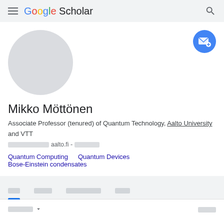Google Scholar
[Figure (illustration): Circular grey avatar placeholder image for Mikko Möttönen]
Mikko Möttönen
Associate Professor (tenured) of Quantum Technology, Aalto University and VTT
Verified email at: aalto.fi - [redacted]
Quantum Computing
Quantum Devices
Bose-Einstein condensates
[Tab bar with navigation and sort options]